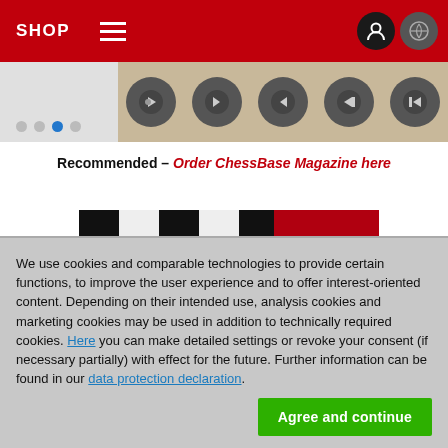SHOP
[Figure (screenshot): Website navigation carousel strip with circular button icons on dark background]
Recommended – Order ChessBase Magazine here
[Figure (photo): ChessBase product box showing a checkerboard pattern in black and white on the left and red rounded rectangle on the right]
We use cookies and comparable technologies to provide certain functions, to improve the user experience and to offer interest-oriented content. Depending on their intended use, analysis cookies and marketing cookies may be used in addition to technically required cookies. Here you can make detailed settings or revoke your consent (if necessary partially) with effect for the future. Further information can be found in our data protection declaration.